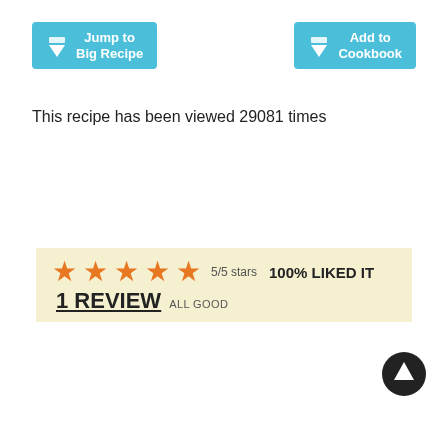[Figure (other): Two teal/blue buttons: 'Jump to Big Recipe' (with down arrow icon) and 'Add to Cookbook' (with down arrow icon)]
This recipe has been viewed 29081 times
[Figure (other): Rating bar showing 5 orange stars, '5/5 stars', '100% LIKED IT', '1 REVIEW ALL GOOD' on a pale yellow background]
[Figure (other): Black circular back-to-top arrow button in the bottom right corner]